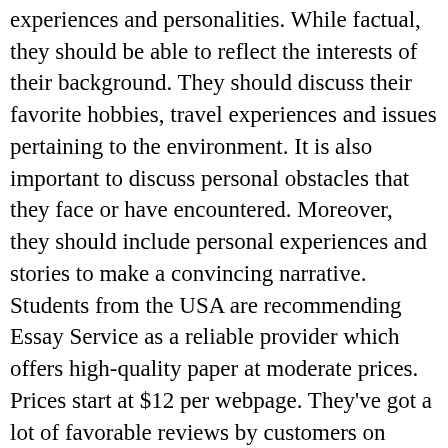experiences and personalities. While factual, they should be able to reflect the interests of their background. They should discuss their favorite hobbies, travel experiences and issues pertaining to the environment. It is also important to discuss personal obstacles that they face or have encountered. Moreover, they should include personal experiences and stories to make a convincing narrative. Students from the USA are recommending Essay Service as a reliable provider which offers high-quality paper at moderate prices. Prices start at $12 per webpage. They've got a lot of favorable reviews by customers on Essay Service which means you can feel secure about the quality of their job. ESSAY ONLINE They're also flexible when it comes to late-night order. They are able to create top-quality content in just three hours. Furthermore, customers don't have to spend an upfront fee. Once the order has been executed, they get their money back. A different service is Essay Service which offers affordable top-quality writing services for